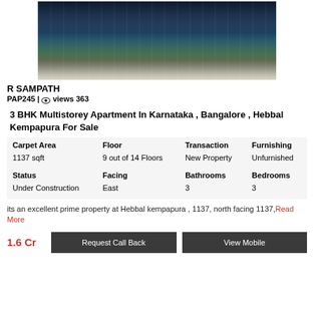[Figure (photo): Aerial/elevated night view of a large multistorey apartment complex in Bangalore]
R SAMPATH
PAP245 | views 363
3 BHK Multistorey Apartment In Karnataka , Bangalore , Hebbal Kempapura For Sale
| Carpet Area | Floor | Transaction | Furnishing |
| --- | --- | --- | --- |
| 1137 sqft | 9 out of 14 Floors | New Property | Unfurnished |
| Status | Facing | Bathrooms | Bedrooms |
| Under Construction | East | 3 | 3 |
its an excellent prime property at Hebbal kempapura , 1137, north facing 1137,Read More
1.6 Cr
Request Call Back
View Mobile